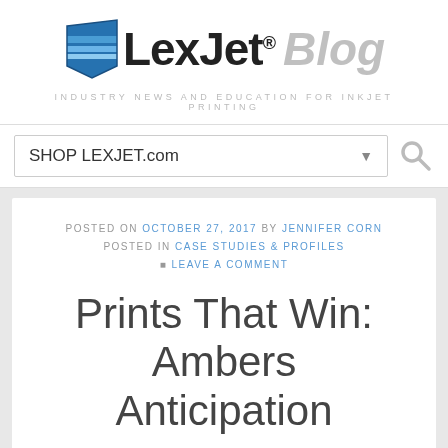[Figure (logo): LexJet Blog logo with blue striped diamond icon, bold black 'LexJet' text and italic gray 'Blog' text]
INDUSTRY NEWS AND EDUCATION FOR INKJET PRINTING
SHOP LEXJET.com
POSTED ON OCTOBER 27, 2017 BY JENNIFER CORN POSTED IN CASE STUDIES & PROFILES LEAVE A COMMENT
Prints That Win: Ambers Anticipation